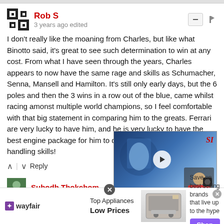Rob S
3 years ago edited
I don't really like the moaning from Charles, but like what Binotto said, it's great to see such determination to win at any cost. From what I have seen through the years, Charles appears to now have the same rage and skills as Schumacher, Senna, Mansell and Hamilton. It's still only early days, but the 6 poles and then the 3 wins in a row out of the blue, came whilst racing amonst multiple world champions, so I feel comfortable with that big statement in comparing him to the greats. Ferrari are very lucky to have him, and he is very lucky to have the best engine package for him to develop his outstanding handling skills!
[Figure (screenshot): Embedded video player with SI logo showing a Formula 1 driver celebrating. Caption reads: The eight-time grand prix winner is the only McLaren driver to win an F1 race in the last decade, but now, he's a free agent.]
Reply
Subodh Thokchom
[Figure (other): Wayfair advertisement banner with text: Top Appliances, Low Prices. Save on best selling brands that live up to the hype. Shop now button. Image of a kitchen appliance/stove.]